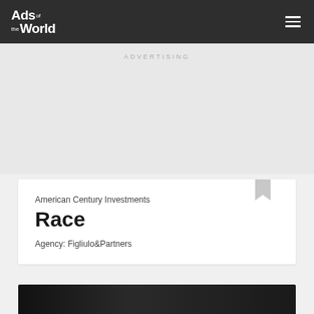Ads of the World
ADVERTISING
American Century Investments
Race
Agency: Figliulo&Partners
[Figure (photo): Dark background image at the bottom of the page, partially visible, showing a dark interior scene]